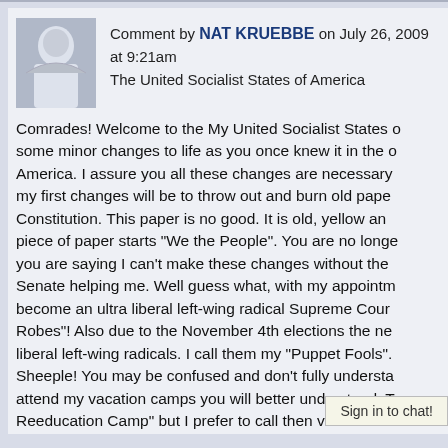Comment by NAT KRUEBBE on July 26, 2009 at 9:21am The United Socialist States of America
Comrades! Welcome to the My United Socialist States of some minor changes to life as you once knew it in the old America. I assure you all these changes are necessary my first changes will be to throw out and burn old paper Constitution. This paper is no good. It is old, yellow and piece of paper starts "We the People". You are no longer you are saying I can't make these changes without the Senate helping me. Well guess what, with my appointment become an ultra liberal left-wing radical Supreme Court Robes"! Also due to the November 4th elections the new liberal left-wing radicals. I call them my "Puppet Fools". Sheeple! You may be confused and don't fully understand attend my vacation camps you will better understand. T Reeducation Camp" but I prefer to call then vacation ca must be better, don't you agree? Your opinion means no I will have more information later, which include your gr redistribution of your money major mode of transportatio